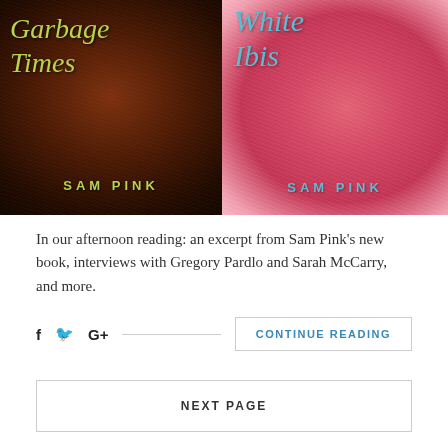[Figure (photo): Two book covers side by side. Left: 'The Garbage Times' by Sam Pink — dark brown/black fuzzy fur background with lime green cursive title and green spaced-out 'SAM PINK' author name. Right: 'White Ibis' by Sam Pink — bright pink/magenta fuzzy fur background with light blue cursive title and blue spaced-out 'SAM PINK' author name.]
In our afternoon reading: an excerpt from Sam Pink's new book, interviews with Gregory Pardlo and Sarah McCarry, and more.
CONTINUE READING
NEXT PAGE